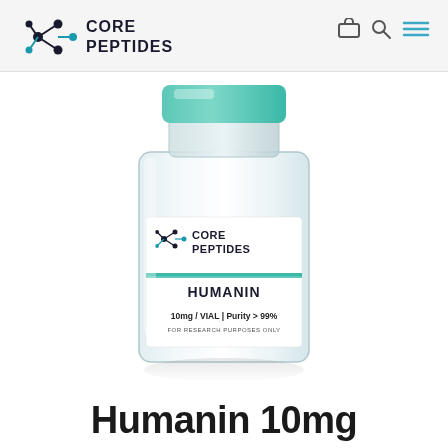CORE PEPTIDES
[Figure (photo): A glass pharmaceutical vial with a teal/turquoise cap. The vial label reads CORE PEPTIDES logo at top, then HUMANIN in bold, then 10mg / VIAL | Purity > 99%, FOR RESEARCH PURPOSES ONLY at the bottom of the label. The vial has a slight reflection at the base.]
Humanin 10mg